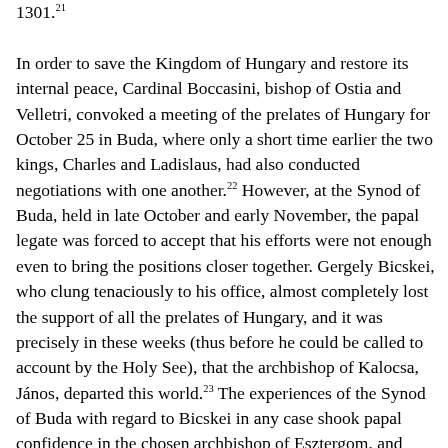1301.21 In order to save the Kingdom of Hungary and restore its internal peace, Cardinal Boccasini, bishop of Ostia and Velletri, convoked a meeting of the prelates of Hungary for October 25 in Buda, where only a short time earlier the two kings, Charles and Ladislaus, had also conducted negotiations with one another.22 However, at the Synod of Buda, held in late October and early November, the papal legate was forced to accept that his efforts were not enough even to bring the positions closer together. Gergely Bicskei, who clung tenaciously to his office, almost completely lost the support of all the prelates of Hungary, and it was precisely in these weeks (thus before he could be called to account by the Holy See), that the archbishop of Kalocsa, János, departed this world.23 The experiences of the Synod of Buda with regard to Bicskei in any case shook papal confidence in the chosen archbishop of Esztergom, and Boniface VIII therefore instructed his emissary to inquire with proper circumspection about the person of a candidate suited for heading the Archbishopric